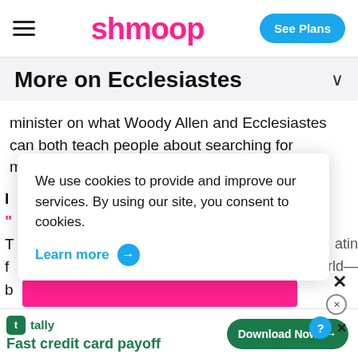shmoop | See Plans
More on Ecclesiastes
minister on what Woody Allen and Ecclesiastes can both teach people about searching for meaning in life.
We use cookies to provide and improve our services. By using our site, you consent to cookies.
Learn more →
[Figure (screenshot): Cookie consent overlay popup on Shmoop educational website]
[Figure (screenshot): Tally app advertisement banner at bottom: Fast credit card payoff, Download Now button]